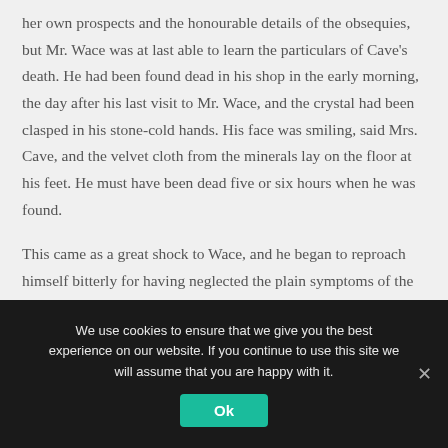her own prospects and the honourable details of the obsequies, but Mr. Wace was at last able to learn the particulars of Cave’s death. He had been found dead in his shop in the early morning, the day after his last visit to Mr. Wace, and the crystal had been clasped in his stone-cold hands. His face was smiling, said Mrs. Cave, and the velvet cloth from the minerals lay on the floor at his feet. He must have been dead five or six hours when he was found.
This came as a great shock to Wace, and he began to reproach himself bitterly for having neglected the plain symptoms of the old man’s ill-health. But his chief thought
We use cookies to ensure that we give you the best experience on our website. If you continue to use this site we will assume that you are happy with it.